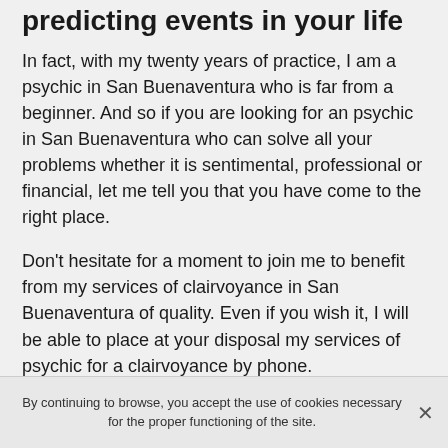predicting events in your life
In fact, with my twenty years of practice, I am a psychic in San Buenaventura who is far from a beginner. And so if you are looking for an psychic in San Buenaventura who can solve all your problems whether it is sentimental, professional or financial, let me tell you that you have come to the right place.
Don't hesitate for a moment to join me to benefit from my services of clairvoyance in San Buenaventura of quality. Even if you wish it, I will be able to place at your disposal my services of psychic for a clairvoyance by phone.
It is important to know that the number of people with real clairvoyance is quite limited and if you have to search for serious and honest clairvoyants, you should not be
By continuing to browse, you accept the use of cookies necessary for the proper functioning of the site.